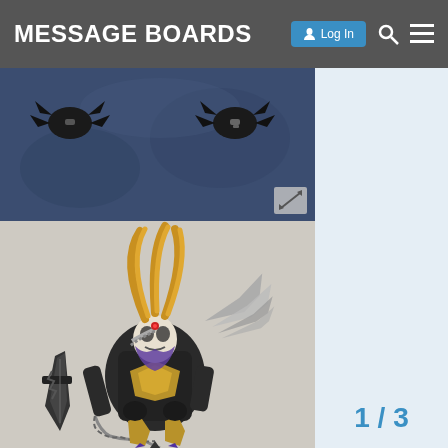MESSAGE BOARDS
[Figure (photo): Two black claw/foot pieces from a LEGO Bionicle set placed on a dark blue cloth/fabric background, photographed from above. An expand/resize icon is visible in the bottom-right corner of the image.]
[Figure (photo): A large custom-built LEGO Bionicle MOC (My Own Creation) figure photographed against a light beige/white background. The figure features gold curved horn/tusk pieces, silver chain-like elements, purple accents, a white skull-like mask, a large dark weapon/sword in the left hand, and silver wing-like appendages on the right side. The body is primarily dark grey/black with gold armor pieces.]
1 / 3